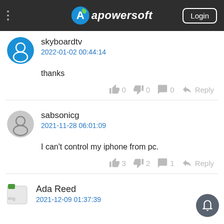Apowersoft — Login
skyboardtv
2022-01-02 00:44:14
thanks
👍 0  👎 0  💬 0  Reply
sabsonicg
2021-11-28 06:01:09
I can't control my iphone from pc.
👍 3  👎 2  💬 1  Reply
Ada Reed
2021-12-09 01:37:39